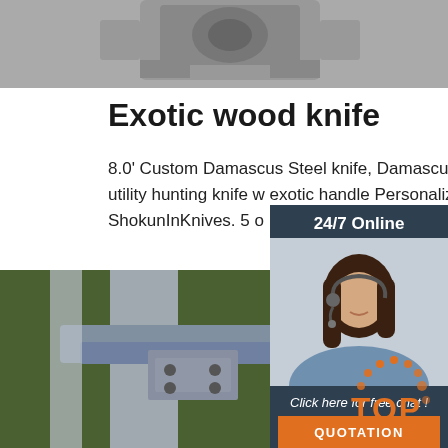[Figure (photo): Black and white photo of industrial machinery at the top of the page]
Exotic wood knife
8.0' Custom Damascus Steel knife, Damascus skinning camping utility hunting knife w exotic handle Personalized gift. ShokunInKnives. 5 o
Get Price
[Figure (infographic): 24/7 Online chat widget with agent photo, 'Click here for free chat!' text, and QUOTATION button]
[Figure (photo): Industrial machinery close-up photo, green and metal components]
[Figure (logo): TOP logo with orange dots arranged in arc above the text]